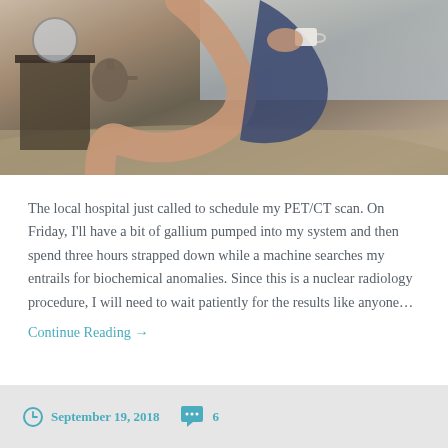[Figure (photo): Woman sitting on bed holding a coffee cup, leaning toward a window, with a teapot and mirror visible in background]
The local hospital just called to schedule my PET/CT scan. On Friday, I'll have a bit of gallium pumped into my system and then spend three hours strapped down while a machine searches my entrails for biochemical anomalies. Since this is a nuclear radiology procedure, I will need to wait patiently for the results like anyone…
Continue Reading →
September 19, 2018   6